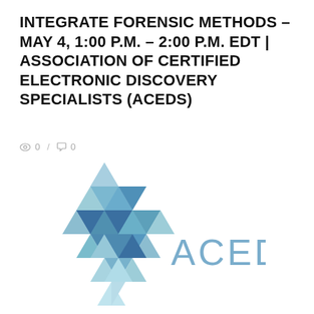INTEGRATE FORENSIC METHODS – MAY 4, 1:00 P.M. – 2:00 P.M. EDT | ASSOCIATION OF CERTIFIED ELECTRONIC DISCOVERY SPECIALISTS (ACEDS)
👁 0 / 💬 0
[Figure (logo): ACEDS logo: a geometric triangle/diamond shape made of small colorful triangles in shades of blue, teal, and green, with the text 'ACEDS' to the right in light blue-gray letters.]